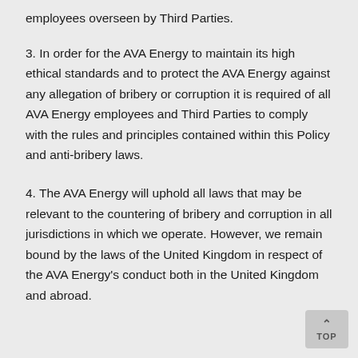employees overseen by Third Parties.
3. In order for the AVA Energy to maintain its high ethical standards and to protect the AVA Energy against any allegation of bribery or corruption it is required of all AVA Energy employees and Third Parties to comply with the rules and principles contained within this Policy and anti-bribery laws.
4. The AVA Energy will uphold all laws that may be relevant to the countering of bribery and corruption in all jurisdictions in which we operate. However, we remain bound by the laws of the United Kingdom in respect of the AVA Energy's conduct both in the United Kingdom and abroad.